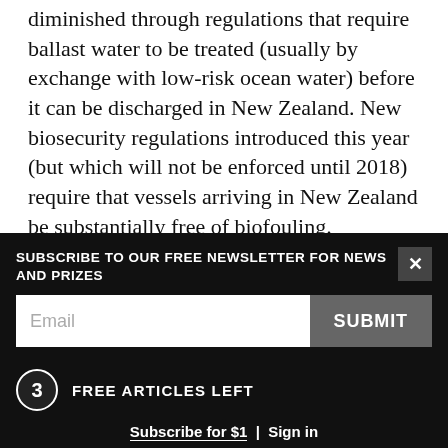diminished through regulations that require ballast water to be treated (usually by exchange with low-risk ocean water) before it can be discharged in New Zealand. New biosecurity regulations introduced this year (but which will not be enforced until 2018) require that vessels arriving in New Zealand be substantially free of biofouling.
Inglis thinks there is good likelihood of progress on biofouling for the simple reason that as fuel prices rise, the economic benefit of a clean, low-drag hull rises too. “Many shipping companies were crunched
SUBSCRIBE TO OUR FREE NEWSLETTER FOR NEWS AND PRIZES
3 FREE ARTICLES LEFT
Subscribe for $1 | Sign in